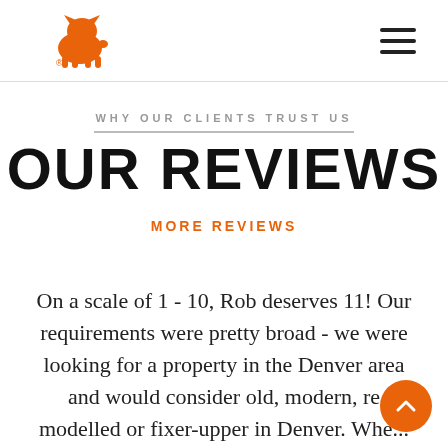[Logo: orange French bulldog with ® mark] [Hamburger menu icon]
WHY OUR CLIENTS TRUST US
OUR REVIEWS
MORE REVIEWS
On a scale of 1 - 10, Rob deserves 11! Our requirements were pretty broad - we were looking for a property in the Denver area and would consider old, modern, re modelled or fixer-upper in Denver. Whe... Richard also recommended Our the...